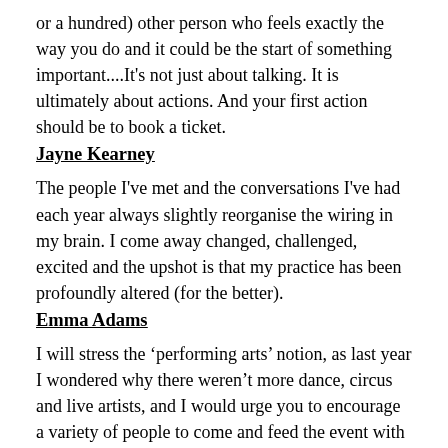or a hundred) other person who feels exactly the way you do and it could be the start of something important....It's not just about talking. It is ultimately about actions. And your first action should be to book a ticket.
Jayne Kearney
The people I've met and the conversations I've had each year always slightly reorganise the wiring in my brain. I come away changed, challenged, excited and the upshot is that my practice has been profoundly altered (for the better).
Emma Adams
I will stress the ‘performing arts’ notion, as last year I wondered why there weren’t more dance, circus and live artists, and I would urge you to encourage a variety of people to come and feed the event with